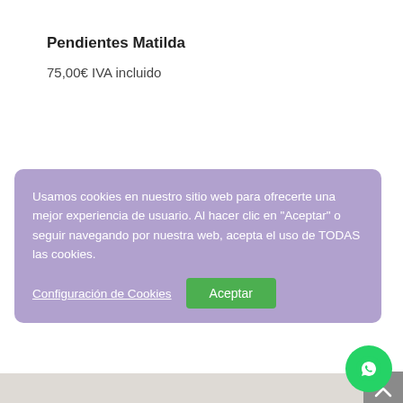Pendientes Matilda
75,00€ IVA incluido
Usamos cookies en nuestro sitio web para ofrecerte una mejor experiencia de usuario. Al hacer clic en "Aceptar" o seguir navegando por nuestra web, acepta el uso de TODAS las cookies.
Configuración de Cookies
Aceptar
[Figure (photo): Silver marcasite leaf-shaped earrings arranged in a decorative butterfly/flower pattern on light background]